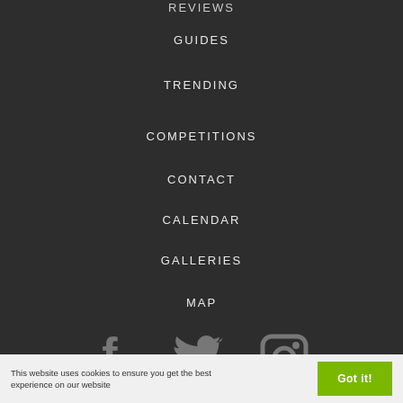REVIEWS
GUIDES
TRENDING
COMPETITIONS
CONTACT
CALENDAR
GALLERIES
MAP
[Figure (infographic): Social media icons: Facebook, Twitter, Instagram in grey]
© 2022 Copyright UK Festivals Guides
IN ASSOCIATION WITH
This website uses cookies to ensure you get the best experience on our website